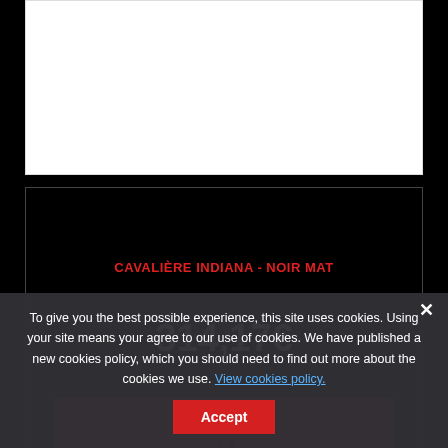[Figure (screenshot): Top portion of a white product card, partially visible]
CAVALIÈRE INDIANA - NOIR MAT
314,17€
[Figure (illustration): Red add-to-cart button with shopping cart icon]
[Figure (screenshot): Bottom white product card, partially visible, with red scroll-to-top button]
To give you the best possible experience, this site uses cookies. Using your site means your agree to our use of cookies. We have published a new cookies policy, which you should need to find out more about the cookies we use. View cookies policy.